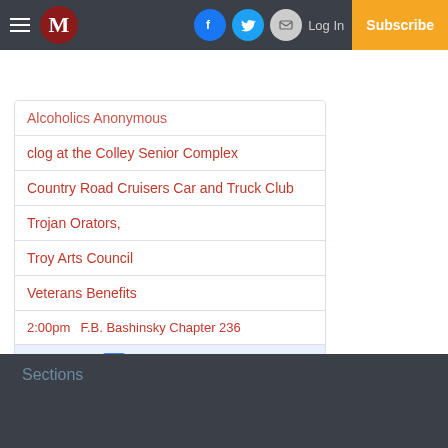M | Log In | Subscribe
Alcoholics Anonymous
clog at the Colley Senior Complex
Country Road Cruisers Car and Truck Club
Trojan Orators,
Troy Arts Council
Veterans Benefits
2:00pm   F.B. Bashinsky Chapter 236
[Figure (other): Add to Google Calendar button]
Sections